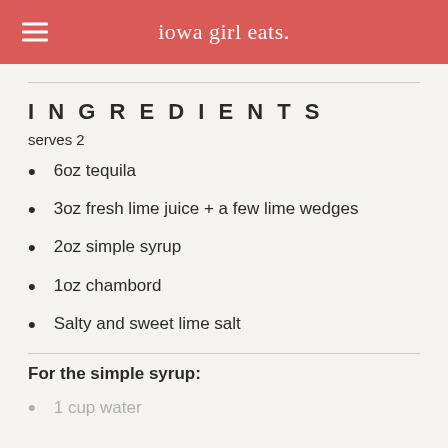iowa girl eats.
INGREDIENTS
serves 2
6oz tequila
3oz fresh lime juice + a few lime wedges
2oz simple syrup
1oz chambord
Salty and sweet lime salt
For the simple syrup:
1 cup water